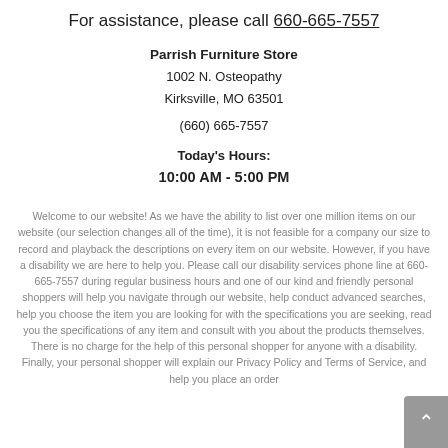For assistance, please call 660-665-7557
Parrish Furniture Store
1002 N. Osteopathy
Kirksville, MO 63501

(660) 665-7557

Today's Hours:
10:00 AM - 5:00 PM
Welcome to our website! As we have the ability to list over one million items on our website (our selection changes all of the time), it is not feasible for a company our size to record and playback the descriptions on every item on our website. However, if you have a disability we are here to help you. Please call our disability services phone line at 660-665-7557 during regular business hours and one of our kind and friendly personal shoppers will help you navigate through our website, help conduct advanced searches, help you choose the item you are looking for with the specifications you are seeking, read you the specifications of any item and consult with you about the products themselves. There is no charge for the help of this personal shopper for anyone with a disability. Finally, your personal shopper will explain our Privacy Policy and Terms of Service, and help you place an order